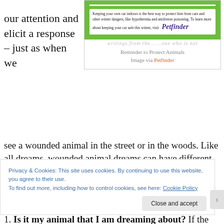our attention and elicit a response – just as when we see a wounded animal in the street or in the woods. Like all dreams, wounded animal dreams can have different levels of meaning and should be handled accordingly. Here are some suggested questions to ask, if you such a dream.
[Figure (screenshot): Green Petfinder advertisement box with text about keeping cats indoors safe this winter, followed by caption 'Reminder to Protect Animals / Image via Petfinder']
Reminder to Protect Animals
Image via Petfinder
1. Is it my animal that I am dreaming about? If the
Privacy & Cookies: This site uses cookies. By continuing to use this website, you agree to their use.
To find out more, including how to control cookies, see here: Cookie Policy